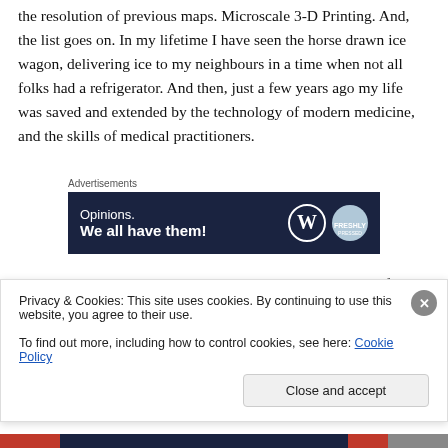the resolution of previous maps. Microscale 3-D Printing. And, the list goes on. In my lifetime I have seen the horse drawn ice wagon, delivering ice to my neighbours in a time when not all folks had a refrigerator. And then, just a few years ago my life was saved and extended by the technology of modern medicine, and the skills of medical practitioners.
[Figure (other): Advertisement banner with dark navy background showing text 'Opinions. We all have them!' with WordPress logo and Freshly Pressed logo on the right.]
I have lived momentous days, extraordinary in the ability of people to coordinate their minds and skills to ensure the
Privacy & Cookies: This site uses cookies. By continuing to use this website, you agree to their use.
To find out more, including how to control cookies, see here: Cookie Policy